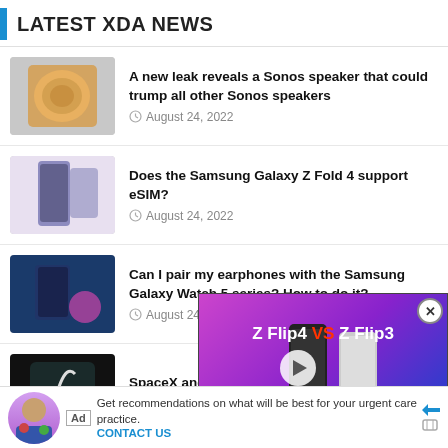LATEST XDA NEWS
A new leak reveals a Sonos speaker that could trump all other Sonos speakers — August 24, 2022
Does the Samsung Galaxy Z Fold 4 support eSIM? — August 24, 2022
Can I pair my earphones with the Samsung Galaxy Watch 5 series? How to do it? — August 24, 2022
SpaceX and T-Mobile an... — August 24, 2022
[Figure (screenshot): Video overlay showing Z Flip4 VS Z Flip3 comparison video thumbnail with play button]
Dell XPS 13 (2022) vs HP Spectre x360 13.5: Which
[Figure (infographic): Ad banner: Get recommendations on what will be best for your urgent care practice. CONTACT US]